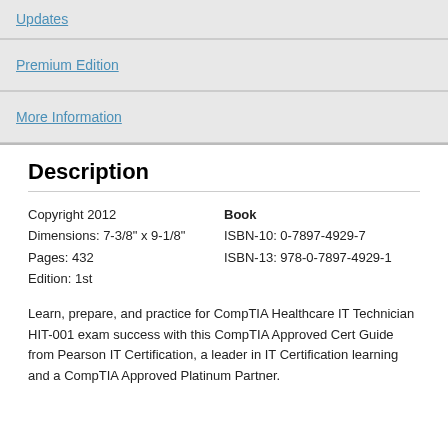Updates
Premium Edition
More Information
Description
Copyright 2012
Dimensions: 7-3/8" x 9-1/8"
Pages: 432
Edition: 1st
Book
ISBN-10: 0-7897-4929-7
ISBN-13: 978-0-7897-4929-1
Learn, prepare, and practice for CompTIA Healthcare IT Technician HIT-001 exam success with this CompTIA Approved Cert Guide from Pearson IT Certification, a leader in IT Certification learning and a CompTIA Approved Platinum Partner.